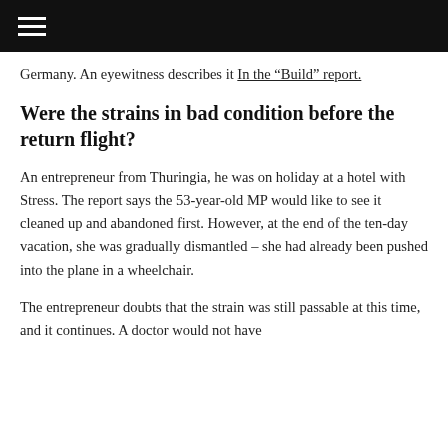≡ (menu icon)
Germany. An eyewitness describes it In the “Build” report.
Were the strains in bad condition before the return flight?
An entrepreneur from Thuringia, he was on holiday at a hotel with Stress. The report says the 53-year-old MP would like to see it cleaned up and abandoned first. However, at the end of the ten-day vacation, she was gradually dismantled – she had already been pushed into the plane in a wheelchair.
The entrepreneur doubts that the strain was still passable at this time, and it continues. A doctor would not have